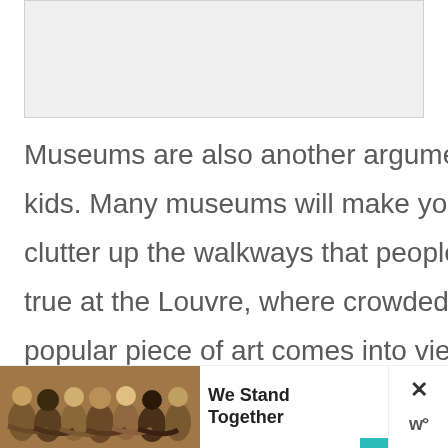[Figure (photo): Gray placeholder image area at top of page]
Museums are also another argument for not using a stroller in Paris with kids. Many museums will make you check your stroller so you don't clutter up the walkways that people use to see the art. This is especially true at the Louvre, where crowded can become suffocating when a popular piece of art comes into view. This is when you want y...
[Figure (infographic): Advertisement banner at bottom: group of people with 'We Stand Together' text]